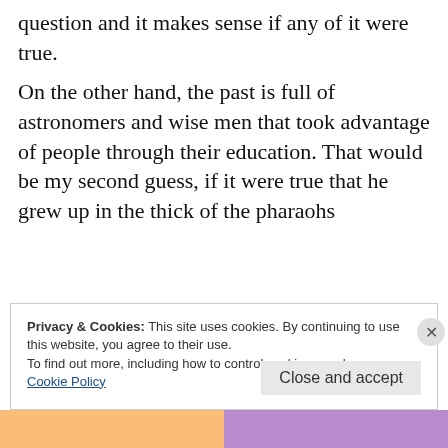question and it makes sense if any of it were true.
On the other hand, the past is full of astronomers and wise men that took advantage of people through their education. That would be my second guess, if it were true that he grew up in the thick of the pharaohs
★ Like
Privacy & Cookies: This site uses cookies. By continuing to use this website, you agree to their use.
To find out more, including how to control cookies, see here:
Cookie Policy
Close and accept